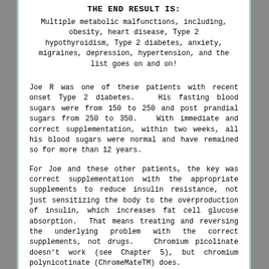THE END RESULT IS:
Multiple metabolic malfunctions, including, obesity, heart disease, Type 2 hypothyroidism, Type 2 diabetes, anxiety, migraines, depression, hypertension, and the list goes on and on!
Joe R was one of these patients with recent onset Type 2 diabetes.  His fasting blood sugars were from 150 to 250 and post prandial sugars from 250 to 350.  With immediate and correct supplementation, within two weeks, all his blood sugars were normal and have remained so for more than 12 years.
For Joe and these other patients, the key was correct supplementation with the appropriate supplements to reduce insulin resistance, not just sensitizing the body to the overproduction of insulin, which increases fat cell glucose absorption.  That means treating and reversing the underlying problem with the correct supplements, not drugs.  Chromium picolinate doesn't work (see Chapter 5), but chromium polynicotinate (ChromeMateTM) does.